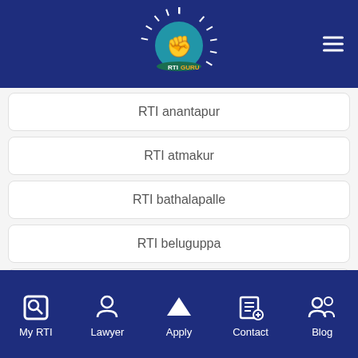[Figure (logo): RTI Guru app logo with fist icon on blue header with hamburger menu]
RTI anantapur
RTI atmakur
RTI bathalapalle
RTI beluguppa
RTI bommanahal
RTI brahmasamudram
RTI bukkapatnam
My RTI   Lawyer   Apply   Contact   Blog